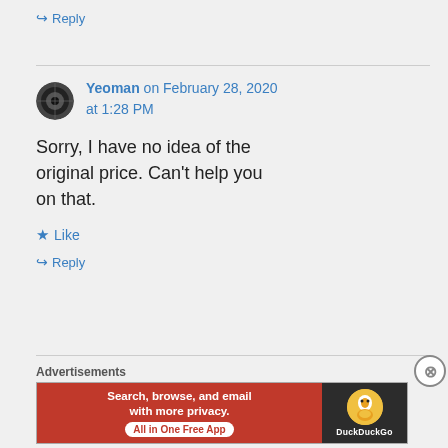↪ Reply
Yeoman on February 28, 2020 at 1:28 PM
Sorry, I have no idea of the original price. Can't help you on that.
★ Like
↪ Reply
Advertisements
[Figure (screenshot): DuckDuckGo advertisement banner: 'Search, browse, and email with more privacy. All in One Free App' with DuckDuckGo logo on dark background]